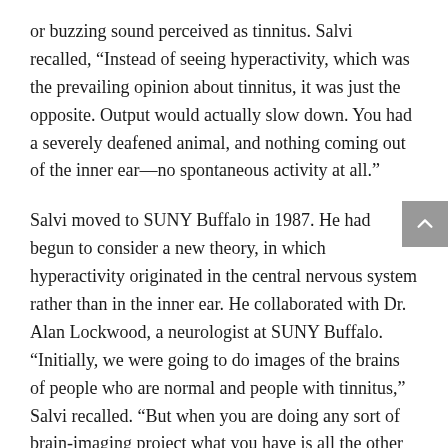or buzzing sound perceived as tinnitus. Salvi recalled, “Instead of seeing hyperactivity, which was the prevailing opinion about tinnitus, it was just the opposite. Output would actually slow down. You had a severely deafened animal, and nothing coming out of the inner ear—no spontaneous activity at all.”
Salvi moved to SUNY Buffalo in 1987. He had begun to consider a new theory, in which hyperactivity originated in the central nervous system rather than in the inner ear. He collaborated with Dr. Alan Lockwood, a neurologist at SUNY Buffalo. “Initially, we were going to do images of the brains of people who are normal and people with tinnitus,” Salvi recalled. “But when you are doing any sort of brain-imaging project what you have is all the other confounding variables”—such as age, gender, and head size. Shortly after Salvi’s arrival, he met with a group of local residents who had formed a tinnitus